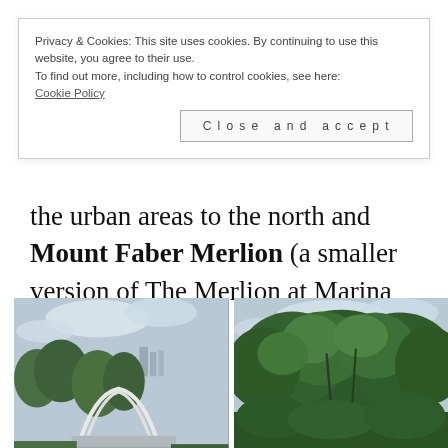Privacy & Cookies: This site uses cookies. By continuing to use this website, you agree to their use. To find out more, including how to control cookies, see here: Cookie Policy [Close and accept button]
the urban areas to the north and Mount Faber Merlion (a smaller version of The Merlion at Marina Bay).
[Figure (photo): Outdoor photo showing a white curved bridge/walkway structure flanked by lush green trees, with city buildings visible in the background under a cloudy sky.]
[Figure (photo): Outdoor photo showing dense green tropical tree canopy with branches filling the frame against a partly cloudy sky.]